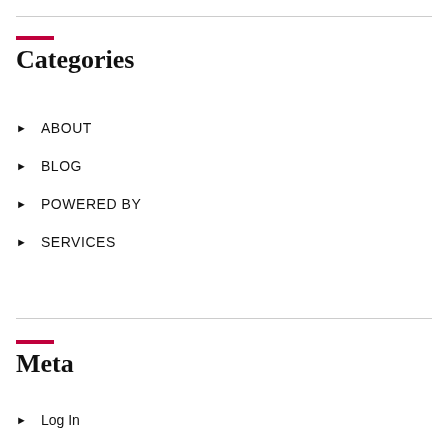Categories
ABOUT
BLOG
POWERED BY
SERVICES
Meta
Log In